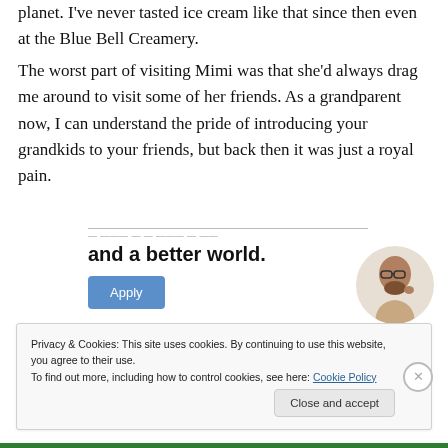planet. I've never tasted ice cream like that since then even at the Blue Bell Creamery.
The worst part of visiting Mimi was that she'd always drag me around to visit some of her friends. As a grandparent now, I can understand the pride of introducing your grandkids to your friends, but back then it was just a royal pain.
[Figure (infographic): Advertisement banner with text 'and a better world.' and a blue Apply button, with a photo of a man in the top right corner]
Privacy & Cookies: This site uses cookies. By continuing to use this website, you agree to their use.
To find out more, including how to control cookies, see here: Cookie Policy
Close and accept